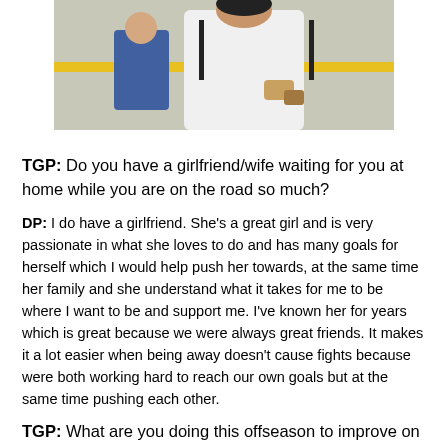[Figure (photo): Photo of a baseball player in a white uniform leaning forward, partially cropped at top of page]
TGP: Do you have a girlfriend/wife waiting for you at home while you are on the road so much?
DP: I do have a girlfriend. She's a great girl and is very passionate in what she loves to do and has many goals for herself which I would help push her towards, at the same time her family and she understand what it takes for me to be where I want to be and support me. I've known her for years which is great because we were always great friends. It makes it a lot easier when being away doesn't cause fights because were both working hard to reach our own goals but at the same time pushing each other.
TGP: What are you doing this offseason to improve on your 2013 season?
DP: I am doing palates once a week, Yoga two times a week, Strength and conditioning five times a week, throwing bullpens, lots of pfp work